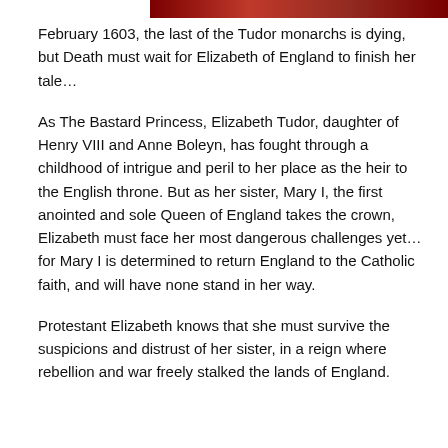[Figure (illustration): Red banner or image strip at the top of the page]
February 1603, the last of the Tudor monarchs is dying, but Death must wait for Elizabeth of England to finish her tale…
As The Bastard Princess, Elizabeth Tudor, daughter of Henry VIII and Anne Boleyn, has fought through a childhood of intrigue and peril to her place as the heir to the English throne. But as her sister, Mary I, the first anointed and sole Queen of England takes the crown, Elizabeth must face her most dangerous challenges yet… for Mary I is determined to return England to the Catholic faith, and will have none stand in her way.
Protestant Elizabeth knows that she must survive the suspicions and distrust of her sister, in a reign where rebellion and war freely stalked the lands of England.